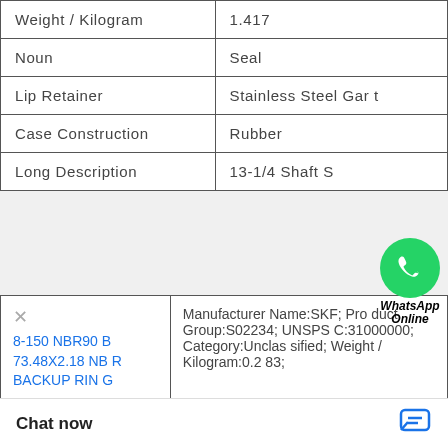| Attribute | Value |
| --- | --- |
| Weight / Kilogram | 1.417 |
| Noun | Seal |
| Lip Retainer | Stainless Steel Gart |
| Case Construction | Rubber |
| Long Description | 13-1/4 Shaft S... |
[Figure (other): WhatsApp contact floating button with green circle phone icon and 'WhatsApp Online' label]
| Product | Details |
| --- | --- |
| 8-150 NBR90 B 73.48X2.18 NBR BACKUP RING | Manufacturer Name:SKF; Product Group:S02234; UNSPSC:31000000; Category:Unclassified; Weight / Kilogram:0.283; |
|  | Type of Seal:Oil Seal; Category Seal Design Code: etainer:Stainless Housing Bore:18.5 |
Chat now